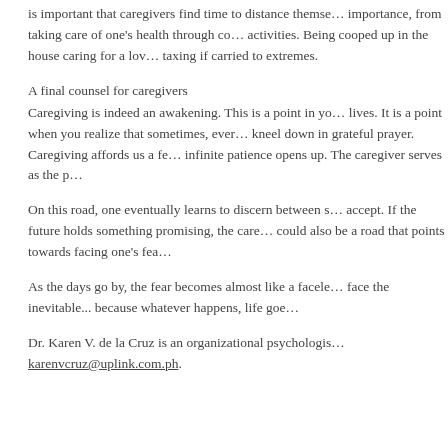is important that caregivers find time to distance themselves of importance, from taking care of one's health through complementary activities. Being cooped up in the house caring for a loved one can be taxing if carried to extremes.
A final counsel for caregivers
Caregiving is indeed an awakening. This is a point in your lives. It is a point when you realize that sometimes, even the strongest kneel down in grateful prayer. Caregiving affords us a few windows where infinite patience opens up. The caregiver serves as the p...
On this road, one eventually learns to discern between s... accept. If the future holds something promising, the care... could also be a road that points towards facing one's fear...
As the days go by, the fear becomes almost like a faceless face the inevitable... because whatever happens, life goes...
Dr. Karen V. de la Cruz is an organizational psychologist. karenvcruz@uplink.com.ph.